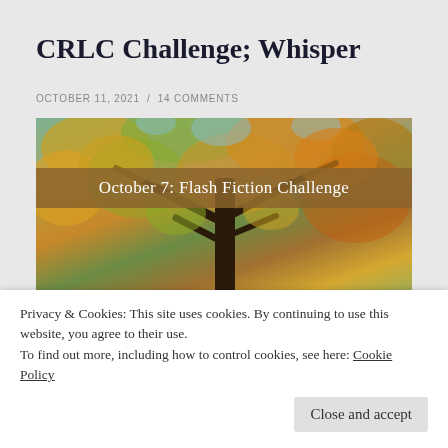CRLC Challenge; Whisper
OCTOBER 11, 2021  /  14 COMMENTS
[Figure (photo): Autumn tree canopy photographed from below, showing orange and yellow fall foliage against patches of blue sky, with a banner overlay reading 'October 7: Flash Fiction Challenge']
Privacy & Cookies: This site uses cookies. By continuing to use this website, you agree to their use.
To find out more, including how to control cookies, see here: Cookie Policy
Close and accept